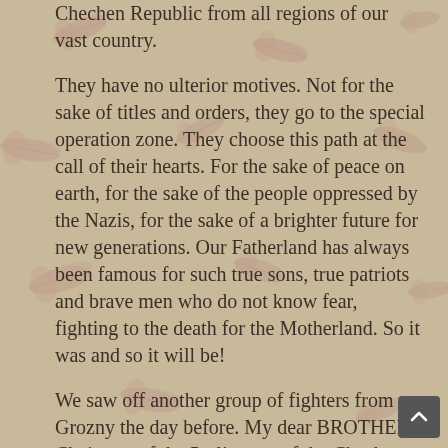Chechen Republic from all regions of our vast country.
They have no ulterior motives. Not for the sake of titles and orders, they go to the special operation zone. They choose this path at the call of their hearts. For the sake of peace on earth, for the sake of the people oppressed by the Nazis, for the sake of a brighter future for new generations. Our Fatherland has always been famous for such true sons, true patriots and brave men who do not know fear, fighting to the death for the Motherland. So it was and so it will be!
We saw off another group of fighters from Grozny the day before. My dear BROTHER, Chairman of the Parliament of the Chechen